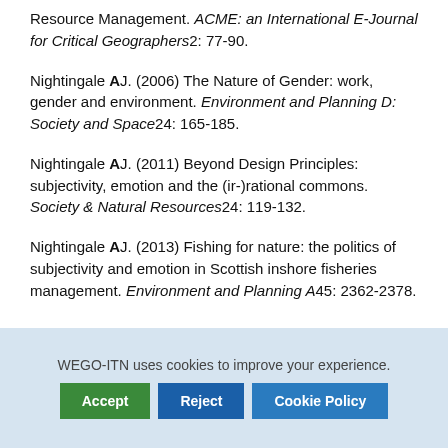Resource Management. ACME: an International E-Journal for Critical Geographers2: 77-90.
Nightingale AJ. (2006) The Nature of Gender: work, gender and environment. Environment and Planning D: Society and Space24: 165-185.
Nightingale AJ. (2011) Beyond Design Principles: subjectivity, emotion and the (ir-)rational commons. Society & Natural Resources24: 119-132.
Nightingale AJ. (2013) Fishing for nature: the politics of subjectivity and emotion in Scottish inshore fisheries management. Environment and Planning A45: 2362-2378.
WEGO-ITN uses cookies to improve your experience.